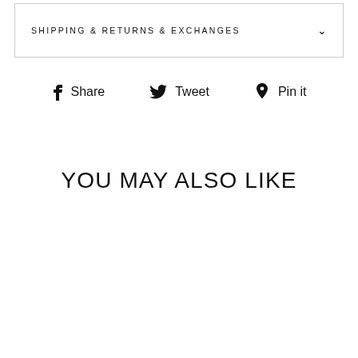SHIPPING & RETURNS & EXCHANGES
Share   Tweet   Pin it
YOU MAY ALSO LIKE